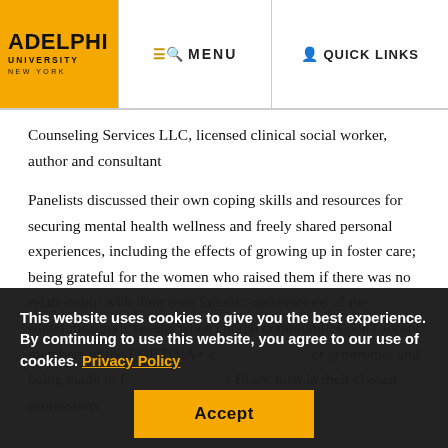ADELPHI UNIVERSITY NEW YORK | MENU | QUICK LINKS
Counseling Services LLC, licensed clinical social worker, author and consultant
Panelists discussed their own coping skills and resources for securing mental health wellness and freely shared personal experiences, including the effects of growing up in foster care; being grateful for the women who raised them if there was no relationship with their own fathers; observations of the sometimes-toxic results when church communities don't accept members of the LGBTQIA+ community; imposter syndrome; and being made to feel like tokens as Black men in their chosen professions.
This website uses cookies to give you the best experience. By continuing to use this website, you agree to our use of cookies. Privacy Policy
Accept